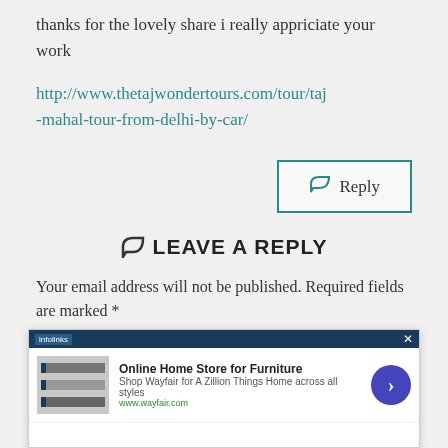thanks for the lovely share i really appriciate your work
http://www.thetajwondertours.com/tour/taj-mahal-tour-from-delhi-by-car/
Reply
LEAVE A REPLY
Your email address will not be published. Required fields are marked *
Comment *
[Figure (screenshot): Advertisement banner for Wayfair online home store for furniture with image, text, and arrow button]